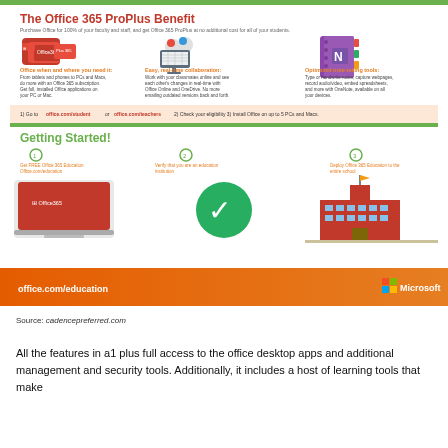[Figure (infographic): The Office 365 ProPlus Benefit infographic showing three features: Office when and where you need it, Easy real-time collaboration, and Optimized note-taking tools. Below are steps to get started with Office 365 Education including getting free Office 365, verifying institution, and deploying to the school. An orange footer shows office.com/education and Microsoft logo.]
Source: cadencepreferred.com
All the features in a1 plus full access to the office desktop apps and additional management and security tools. Additionally, it includes a host of learning tools that make